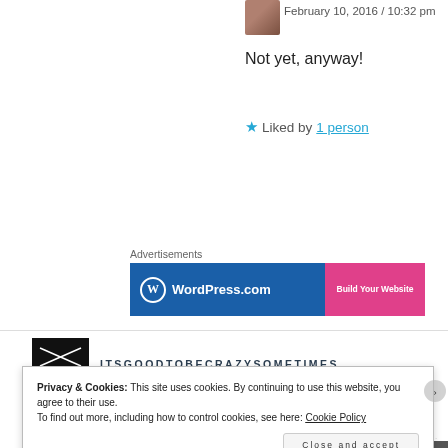February 10, 2016 / 10:32 pm
Not yet, anyway!
★ Liked by 1 person
Advertisements
[Figure (screenshot): WordPress.com advertisement banner with blue background, WordPress logo and 'Build Your Website' pink button]
ITSGOODTOBECRAZYSOMETIMES
Privacy & Cookies: This site uses cookies. By continuing to use this website, you agree to their use.
To find out more, including how to control cookies, see here: Cookie Policy
Close and accept